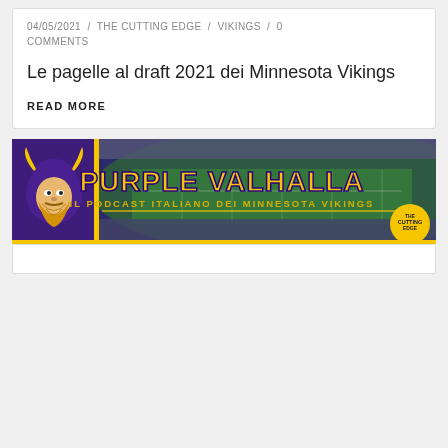04/05/2021 / THE CUTTING EDGE / VIKINGS / 0 COMMENTS
Le pagelle al draft 2021 dei Minnesota Vikings
READ MORE
[Figure (illustration): Purple Valhalla podcast banner — Il podcast italiano dei Minnesota Vikings, with Viking mascot logo, football stadium background, and The Cutting Edge logo]